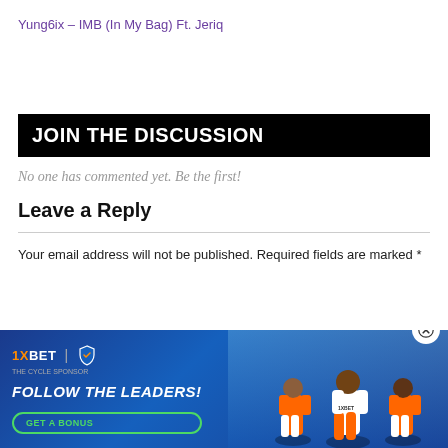Yung6ix – IMB (In My Bag) Ft. Jeriq
JOIN THE DISCUSSION
No one has commented yet. Be the first!
Leave a Reply
Your email address will not be published. Required fields are marked *
[Figure (infographic): 1XBET advertisement banner with 'FOLLOW THE LEADERS!' text, a 'GET A BONUS' button, and three soccer players in orange jerseys on a blue background.]